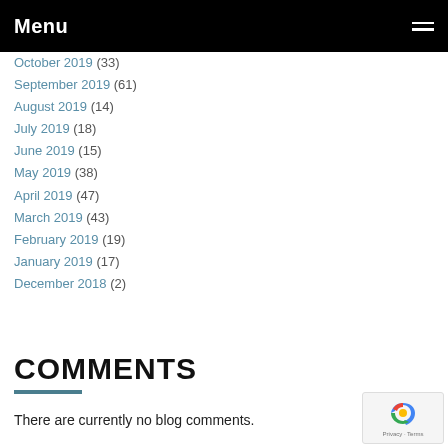Menu
October 2019 (33)
September 2019 (61)
August 2019 (14)
July 2019 (18)
June 2019 (15)
May 2019 (38)
April 2019 (47)
March 2019 (43)
February 2019 (19)
January 2019 (17)
December 2018 (2)
COMMENTS
There are currently no blog comments.